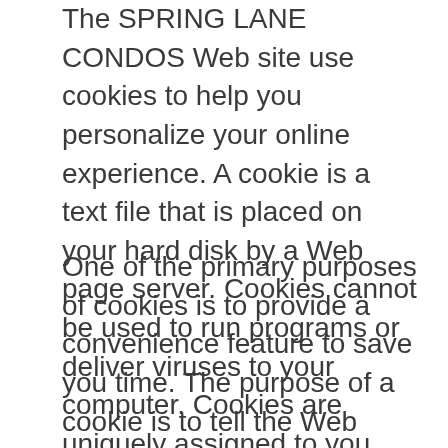The SPRING LANE CONDOS Web site use cookies to help you personalize your online experience. A cookie is a text file that is placed on your hard disk by a Web page server. Cookies cannot be used to run programs or deliver viruses to your computer. Cookies are uniquely assigned to you, and can only be read by a web server in the domain that issued the cookie to you.
One of the primary purposes of cookies is to provide a convenience feature to save you time. The purpose of a cookie is to tell the Web server that you have returned to a specific page. For example, if you personalize SPRING LANE CONDOS pages, or register with SPRING LANE CONDOS site or services, a cookie helps SPRING LANE CONDOS to recall your specific information on subsequent visits. This simplifies the process of recording your personal information, such as billing addresses, shipping addresses, and so on. When you return to the same